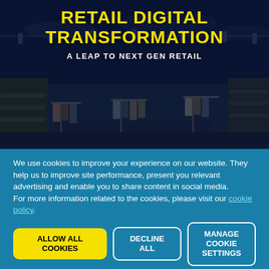[Figure (screenshot): Screenshot of a retail digital transformation webpage with a dark retail store background image. Yellow and white text overlaid on dark blue background showing page title.]
RETAIL DIGITAL TRANSFORMATION
A LEAP TO NEXT GEN RETAIL
We use cookies to improve your experience on our website. They help us to improve site performance, present you relevant advertising and enable you to share content in social media.
For more information related to the cookies, please visit our cookie policy.
ALLOW ALL COOKIES
DECLINE ALL
MANAGE COOKIE SETTINGS